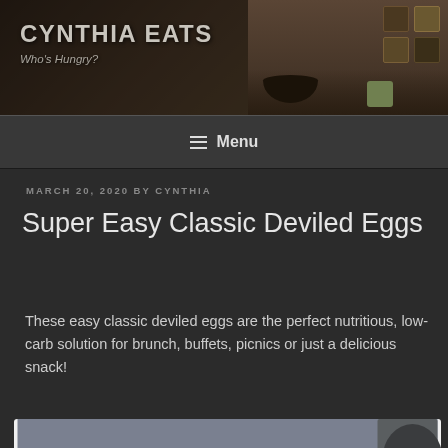CYNTHIA EATS
Who's Hungry?
≡ Menu
MARCH 20, 2020 BY CYNTHIA
Super Easy Classic Deviled Eggs
These easy classic deviled eggs are the perfect nutritious, low-carb solution for brunch, buffets, picnics or just a delicious snack!
[Figure (photo): Deviled eggs on a white plate, topped with orange/paprika filling, on a dark surface]